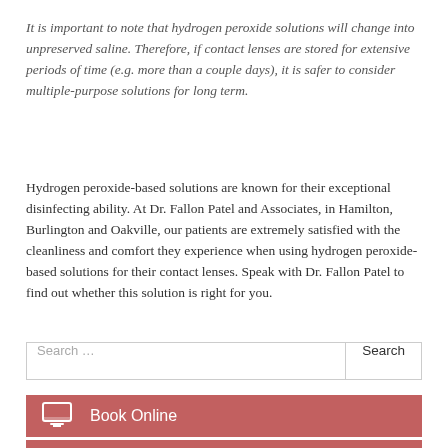It is important to note that hydrogen peroxide solutions will change into unpreserved saline. Therefore, if contact lenses are stored for extensive periods of time (e.g. more than a couple days), it is safer to consider multiple-purpose solutions for long term.
Hydrogen peroxide-based solutions are known for their exceptional disinfecting ability. At Dr. Fallon Patel and Associates, in Hamilton, Burlington and Oakville, our patients are extremely satisfied with the cleanliness and comfort they experience when using hydrogen peroxide-based solutions for their contact lenses. Speak with Dr. Fallon Patel to find out whether this solution is right for you.
Search ...
Book Online